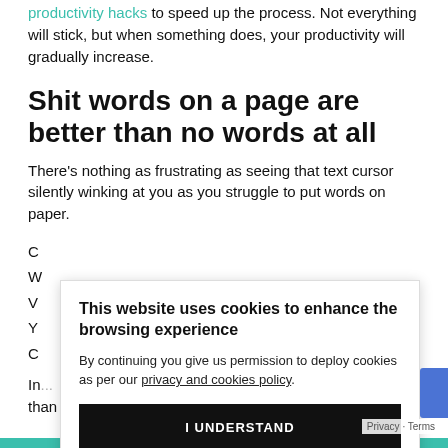productivity hacks to speed up the process. Not everything will stick, but when something does, your productivity will gradually increase.
Shit words on a page are better than no words at all
There's nothing as frustrating as seeing that text cursor silently winking at you as you struggle to put words on paper.
C
W
V
Y
C
In ... than to have no sarcastic at all.
[Figure (other): Cookie consent banner overlay with title 'This website uses cookies to enhance the browsing experience', body text 'By continuing you give us permission to deploy cookies as per our privacy and cookies policy.', and a black 'I UNDERSTAND' button.]